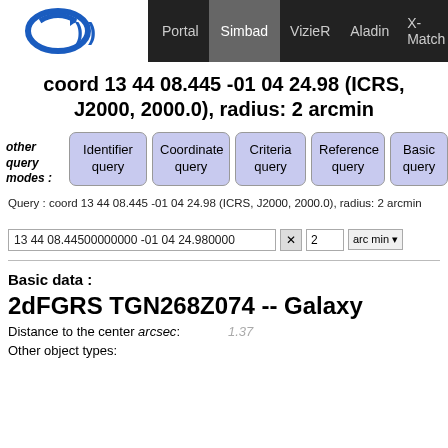Portal | Simbad | VizieR | Aladin | X-Match | Other
coord 13 44 08.445 -01 04 24.98 (ICRS, J2000, 2000.0), radius: 2 arcmin
other query modes :
Identifier query | Coordinate query | Criteria query | Reference query | Basic query
Query : coord 13 44 08.445 -01 04 24.98 (ICRS, J2000, 2000.0), radius: 2 arcmin
13 44 08.44500000000 -01 04 24.980000   2   arc min
Basic data :
2dFGRS TGN268Z074 -- Galaxy
Distance to the center arcsec:   1.37
Other object types: